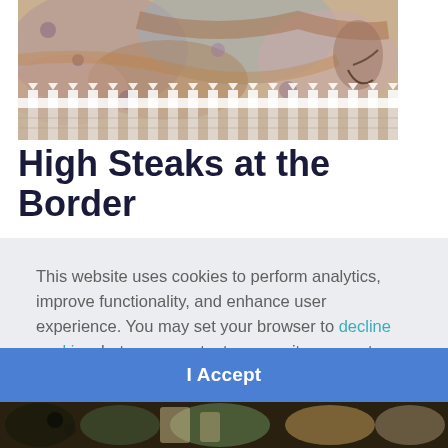[Figure (illustration): Colorful mixed-media artwork showing abstract animal and human figures with watercolor textures and a white picket fence at the bottom]
High Steaks at the Border
This website uses cookies to perform analytics, improve functionality, and enhance user experience. You may set your browser to decline cookies, but some content on our site may not display properly. For more information, please visit our privacy policy.
[Figure (photo): Partial view of another artwork at the bottom of the page]